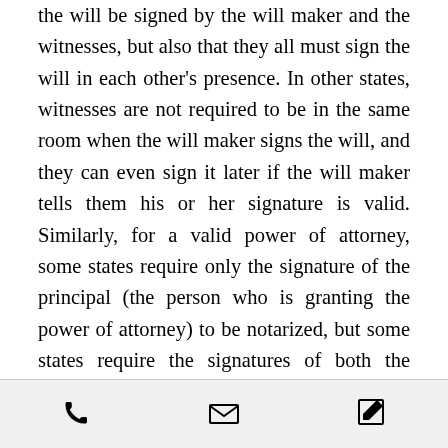the will be signed by the will maker and the witnesses, but also that they all must sign the will in each other's presence. In other states, witnesses are not required to be in the same room when the will maker signs the will, and they can even sign it later if the will maker tells them his or her signature is valid. Similarly, for a valid power of attorney, some states require only the signature of the principal (the person who is granting the power of attorney) to be notarized, but some states require the signatures of both the principal and the agent (the person who will act on behalf of the principal) to be notarized. In other states, one or more witnesses are required—and these requirements may also differ